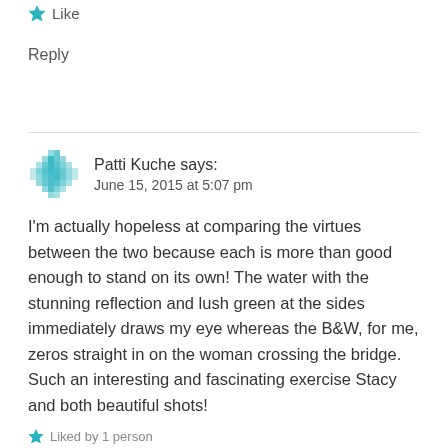★ Like
Reply
Patti Kuche says:
June 15, 2015 at 5:07 pm
I'm actually hopeless at comparing the virtues between the two because each is more than good enough to stand on its own! The water with the stunning reflection and lush green at the sides immediately draws my eye whereas the B&W, for me, zeros straight in on the woman crossing the bridge. Such an interesting and fascinating exercise Stacy and both beautiful shots!
Liked by 1 person